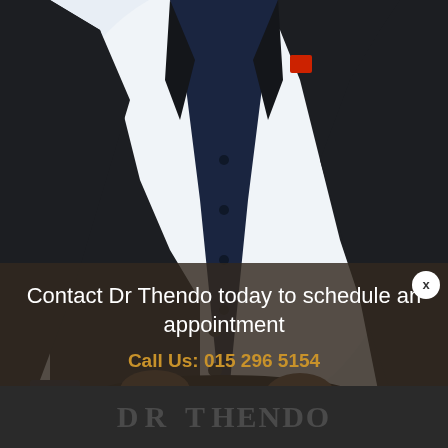[Figure (photo): A man in a dark navy/black blazer and dark navy shirt, sitting on a black leather chair/stool. The background is light blue-white. The image shows torso and lower body, no face visible. The person appears professional.]
Contact Dr Thendo today to schedule an appointment
Call Us: 015 296 5154
DR THENDO